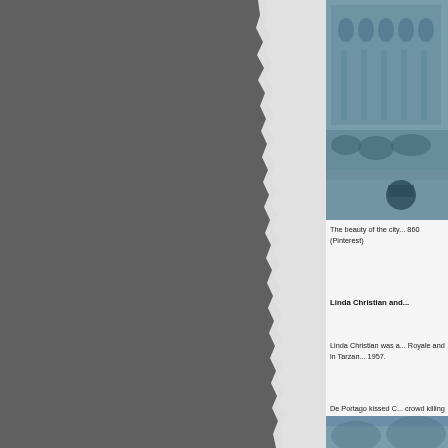[Figure (photo): Left panel showing a dark grey torn page effect against a grey background]
[Figure (photo): Historical black and white photo of a city building with a crowd and a vehicle, tinted blue-grey]
The beauty of the city... 860 (Pinterest)
Linda Christian and...
Linda Christian was a... Royale and in Tarzan... 1957.
De Portago kissed C... crowd killing Portago...
[Figure (photo): Partial photo visible at bottom of right panel, tinted blue-grey]